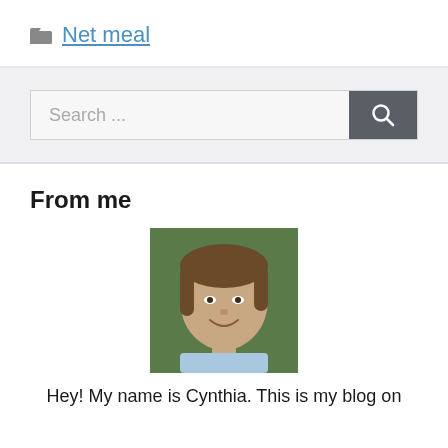Net meal
Search ...
From me
[Figure (photo): Portrait photo of a young woman with brown hair, smiling, outdoors with green foliage in background]
Hey! My name is Cynthia. This is my blog on